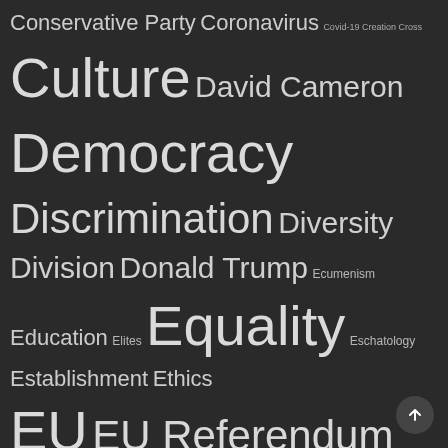[Figure (infographic): Word cloud on dark background featuring topics related to religion, politics, and society. Words displayed in varying sizes indicating frequency/importance. Background is dark gray (#2a2a2a). Words include: Conservative Party, Coronavirus, Covid-19, Creation, Cross, Culture, David Cameron, Democracy, Discrimination, Diversity, Division, Donald Trump, Ecumenism, Education, Elites, Equality, Eschatology, Establishment, Ethics, EU, EU Referendum, Europe, European Union, Evil, Extremism, Faith, False Prophets, Family, Forgiveness, Freedom, Freedom of Expression, Freedom of Religion, Freedom of Speech, Gender, General Election, General Synod, George Bell, God, Gospel, Government, Hate, Hate speech, Heresy, Holy Spirit, Homophobia, Homosexuality, Hope, House of Bishops, Human Rights, Hypocrisy, Identity, Idolatry, Image of God, Immigration, Inclusion, Injustice, Integrity, Iraq, ISIS, Islam, Islamic extremism, Islamic State, Islamism, Islamophobia, Israel]